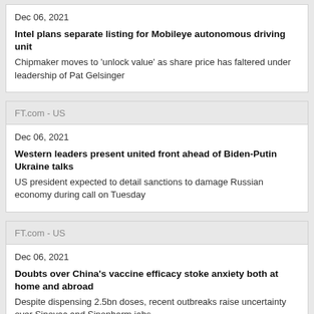Dec 06, 2021
Intel plans separate listing for Mobileye autonomous driving unit
Chipmaker moves to 'unlock value' as share price has faltered under leadership of Pat Gelsinger
FT.com - US
Dec 06, 2021
Western leaders present united front ahead of Biden-Putin Ukraine talks
US president expected to detail sanctions to damage Russian economy during call on Tuesday
FT.com - US
Dec 06, 2021
Doubts over China's vaccine efficacy stoke anxiety both at home and abroad
Despite dispensing 2.5bn doses, recent outbreaks raise uncertainty over Sinovac and Sinopharm jabs
FT.com - US